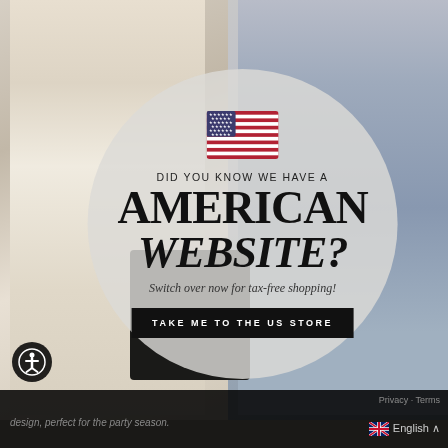[Figure (photo): Fashion promotional page showing two female models against a neutral background. Left model wearing white lace-up trousers and white top. Right model wearing blue denim shirt crop top and matching mini skirt. A large semi-transparent circular overlay in the center contains promotional text about an American website.]
DID YOU KNOW WE HAVE A
AMERICAN WEBSITE?
Switch over now for tax-free shopping!
TAKE ME TO THE US STORE
design, perfect for the party season.
Privacy · Terms
English